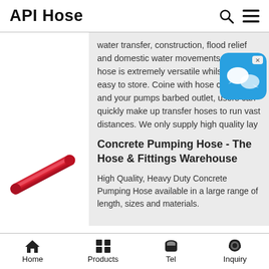API Hose
water transfer, construction, flood relief and domestic water movements. This hose is extremely versatile whilst being easy to store. Coine with hose clamps and your pumps barbed outlet, users can quickly make up transfer hoses to run vast distances. We only supply high quality lay flat hose. The …
[Figure (photo): Chat/messaging app icon — blue rounded square with two speech bubble icons]
[Figure (illustration): Red cylindrical concrete pumping hose shown diagonally]
Concrete Pumping Hose - The Hose & Fittings Warehouse
High Quality, Heavy Duty Concrete Pumping Hose available in a large range of length, sizes and materials.
Home  Products  Tel  Inquiry